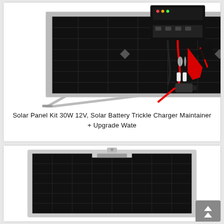[Figure (photo): Solar panel kit photo showing a 30W 12V monocrystalline solar panel on a stand, with a solar charge controller, battery clamps (red and black), mounting screws, anchors, and an SAE connector cable with red wire.]
Solar Panel Kit 30W 12V, Solar Battery Trickle Charger Maintainer + Upgrade Wate
[Figure (photo): Close-up photo of a monocrystalline solar panel with silver aluminum frame, showing dark photovoltaic cells arranged in a grid pattern, viewed from a slight angle.]